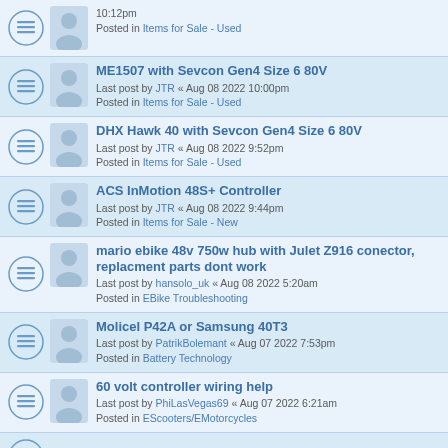10:12pm
Posted in Items for Sale - Used
ME1507 with Sevcon Gen4 Size 6 80V
Last post by JTR « Aug 08 2022 10:00pm
Posted in Items for Sale - Used
DHX Hawk 40 with Sevcon Gen4 Size 6 80V
Last post by JTR « Aug 08 2022 9:52pm
Posted in Items for Sale - Used
ACS InMotion 48S+ Controller
Last post by JTR « Aug 08 2022 9:44pm
Posted in Items for Sale - New
mario ebike 48v 750w hub with Julet Z916 conector, replacment parts dont work
Last post by hansolo_uk « Aug 08 2022 5:20am
Posted in EBike Troubleshooting
Molicel P42A or Samsung 40T3
Last post by PatrikBolemant « Aug 07 2022 7:53pm
Posted in Battery Technology
60 volt controller wiring help
Last post by PhiLasVegas69 « Aug 07 2022 6:21am
Posted in EScooters/EMotorcycles
KT LCD3 error 3 350W hub motor 48V battery...